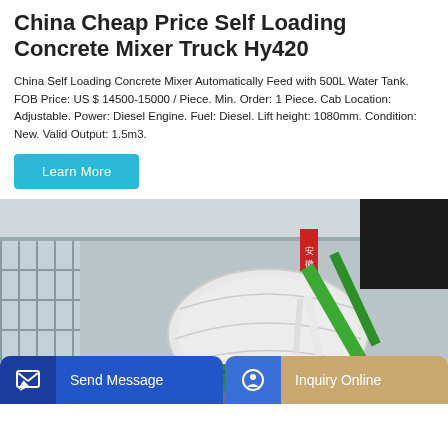China Cheap Price Self Loading Concrete Mixer Truck Hy420
China Self Loading Concrete Mixer Automatically Feed with 500L Water Tank. FOB Price: US $ 14500-15000 / Piece. Min. Order: 1 Piece. Cab Location: Adjustable. Power: Diesel Engine. Fuel: Diesel. Lift height: 1080mm. Condition: New. Valid Output: 1.5m3.
Learn More
[Figure (photo): Photo of a green self-loading concrete mixer truck (Hy420) displayed at what appears to be an indoor exhibition or showroom, with a large white drum and green frame, parked in front of a building with glass windows and a red banner with Chinese text.]